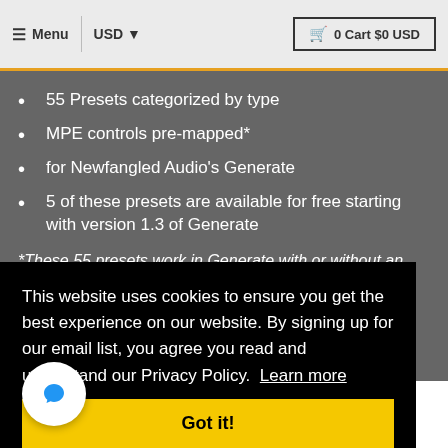≡ Menu  USD  🛒 0 Cart $0 USD
55 Presets categorized by type
MPE controls pre-mapped*
for Newfangled Audio's Generate
5 of these presets are available for free starting with version 1.3 of Generate
*These 55 presets work in Generate with or without an MPE controller
This website uses cookies to ensure you get the best experience on our website. By signing up for our email list, you agree you read and understand our Privacy Policy.  Learn more
Got it!